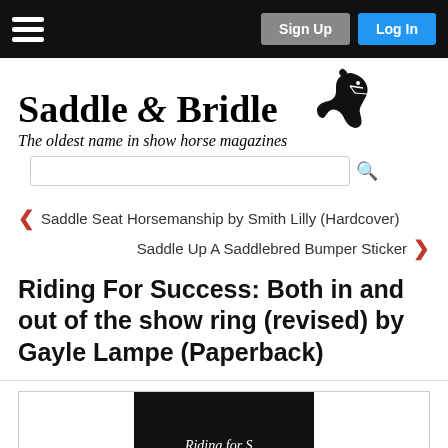Sign Up | Log In
Saddle & Bridle
The oldest name in show horse magazines
< Saddle Seat Horsemanship by Smith Lilly (Hardcover)
Saddle Up A Saddlebred Bumper Sticker >
Riding For Success: Both in and out of the show ring (revised) by Gayle Lampe (Paperback)
[Figure (photo): Book cover image partially visible at bottom of page, black background with white italic text beginning with 'Riding for S...']